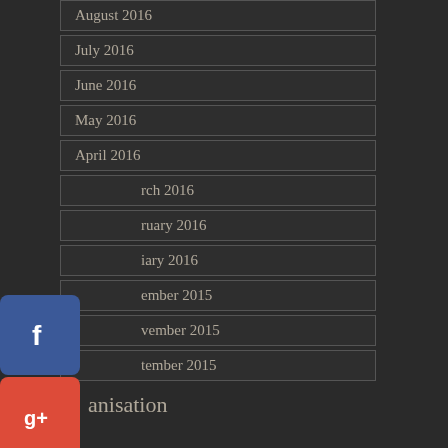August 2016
July 2016
June 2016
May 2016
April 2016
March 2016
February 2016
January 2016
December 2015
November 2015
September 2015
[Figure (infographic): Social media share buttons: Facebook (blue), Google+ (red), Twitter (light blue), Pinterest (dark red), Blogger (orange), More (gray with three dots)]
anisation